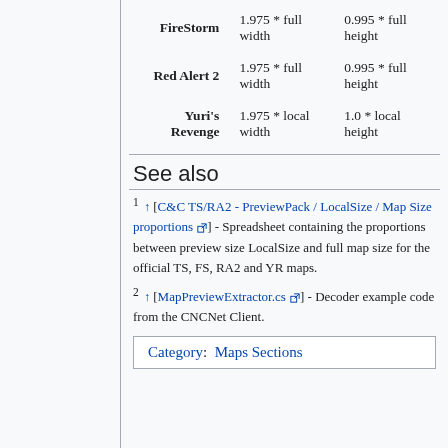| Game | Width | Height |
| --- | --- | --- |
| FireStorm | 1.975 * full width | 0.995 * full height |
| Red Alert 2 | 1.975 * full width | 0.995 * full height |
| Yuri's Revenge | 1.975 * local width | 1.0 * local height |
See also
1 ↑ [C&C TS/RA2 - PreviewPack / LocalSize / Map Size proportions] - Spreadsheet containing the proportions between preview size LocalSize and full map size for the official TS, FS, RA2 and YR maps.
2 ↑ [MapPreviewExtractor.cs] - Decoder example code from the CNCNet Client.
Category: Maps Sections